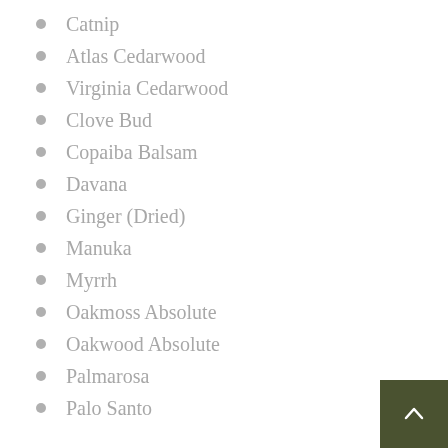Catnip
Atlas Cedarwood
Virginia Cedarwood
Clove Bud
Copaiba Balsam
Davana
Ginger (Dried)
Manuka
Myrrh
Oakmoss Absolute
Oakwood Absolute
Palmarosa
Palo Santo